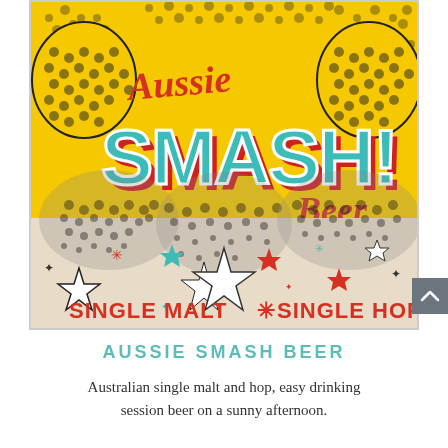[Figure (illustration): Aussie SMASH! Beer label with comic-book pop art style. Yellow background with halftone burst pattern and speech bubbles. Large teal/turquoise text 'SMASH!' with red outline in center, red cursive 'Aussie' above and 'Beer' to the right. Bottom section has cream/beige background with comic-style explosion shapes, decorative stars in white, teal, red, and black, and red text 'SINGLE MALT * SINGLE HOP' at the bottom.]
AUSSIE SMASH BEER
Australian single malt and hop, easy drinking session beer on a sunny afternoon.